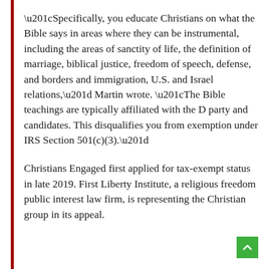“Specifically, you educate Christians on what the Bible says in areas where they can be instrumental, including the areas of sanctity of life, the definition of marriage, biblical justice, freedom of speech, defense, and borders and immigration, U.S. and Israel relations,” Martin wrote. “The Bible teachings are typically affiliated with the D party and candidates. This disqualifies you from exemption under IRS Section 501(c)(3).”
Christians Engaged first applied for tax-exempt status in late 2019. First Liberty Institute, a religious freedom public interest law firm, is representing the Christian group in its appeal.